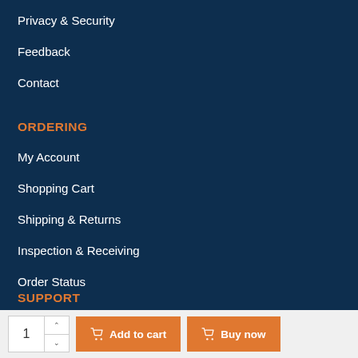Privacy & Security
Feedback
Contact
ORDERING
My Account
Shopping Cart
Shipping & Returns
Inspection & Receiving
Order Status
SUPPORT
Same Day Shipment
1  Add to cart  Buy now